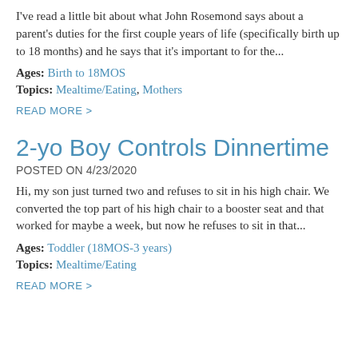I've read a little bit about what John Rosemond says about a parent's duties for the first couple years of life (specifically birth up to 18 months) and he says that it's important to for the...
Ages: Birth to 18MOS
Topics: Mealtime/Eating, Mothers
READ MORE >
2-yo Boy Controls Dinnertime
POSTED ON 4/23/2020
Hi, my son just turned two and refuses to sit in his high chair. We converted the top part of his high chair to a booster seat and that worked for maybe a week, but now he refuses to sit in that...
Ages: Toddler (18MOS-3 years)
Topics: Mealtime/Eating
READ MORE >